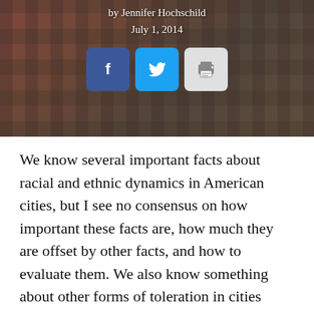[Figure (photo): Urban building scene with social media sharing icons (Facebook, Twitter, Print) overlaid. Byline 'by Jennifer Hochschild' and date 'July 1, 2014' appear at top of image.]
We know several important facts about racial and ethnic dynamics in American cities, but I see no consensus on how important these facts are, how much they are offset by other facts, and how to evaluate them. We also know something about other forms of toleration in cities beyond race and ethnicity; it may be my ignorance speaking but I believe that these additional facts are less